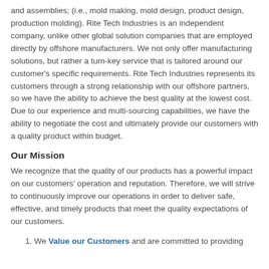and assemblies; (i.e., mold making, mold design, product design, production molding). Rite Tech Industries is an independent company, unlike other global solution companies that are employed directly by offshore manufacturers. We not only offer manufacturing solutions, but rather a turn-key service that is tailored around our customer's specific requirements. Rite Tech Industries represents its customers through a strong relationship with our offshore partners, so we have the ability to achieve the best quality at the lowest cost. Due to our experience and multi-sourcing capabilities, we have the ability to negotiate the cost and ultimately provide our customers with a quality product within budget.
Our Mission
We recognize that the quality of our products has a powerful impact on our customers' operation and reputation. Therefore, we will strive to continuously improve our operations in order to deliver safe, effective, and timely products that meet the quality expectations of our customers.
1. We Value our Customers and are committed to providing